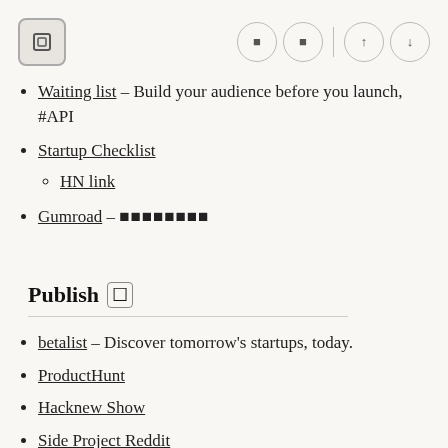[Figure (screenshot): Toolbar with a square icon on the left and navigation buttons (two square icons, a divider, up and down arrow circles) on the right]
Waiting list – Build your audience before you launch, #API
Startup Checklist
HN link
Gumroad – ████████
Publish 🔲
betalist – Discover tomorrow's startups, today.
ProductHunt
Hacknew Show
Side Project Reddit